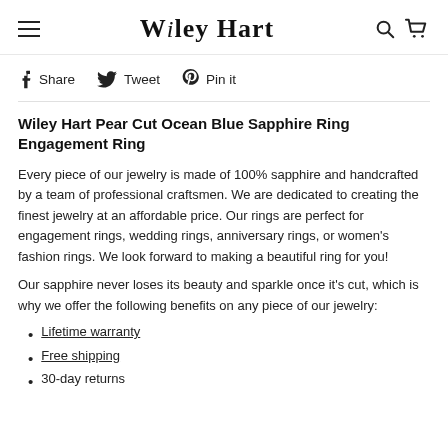Wiley Hart
Share   Tweet   Pin it
Wiley Hart Pear Cut Ocean Blue Sapphire Ring Engagement Ring
Every piece of our jewelry is made of 100% sapphire and handcrafted by a team of professional craftsmen. We are dedicated to creating the finest jewelry at an affordable price. Our rings are perfect for engagement rings, wedding rings, anniversary rings, or women's fashion rings. We look forward to making a beautiful ring for you!
Our sapphire never loses its beauty and sparkle once it's cut, which is why we offer the following benefits on any piece of our jewelry:
Lifetime warranty
Free shipping
30-day returns